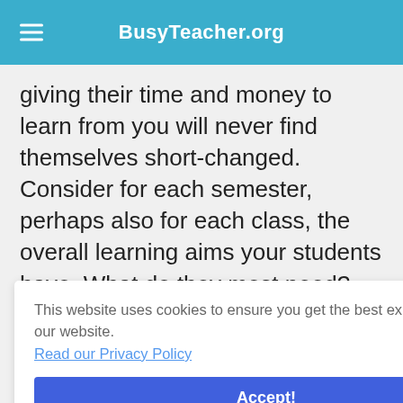BusyTeacher.org
giving their time and money to learn from you will never find themselves short-changed. Consider for each semester, perhaps also for each class, the overall learning aims your students have. What do they most need? What mistakes are you hearing? What elements of their skills set need to be boosted?
This website uses cookies to ensure you get the best experience on our website. Read our Privacy Policy
Accept!
etc. As a teacher, you spend hundreds of hours with